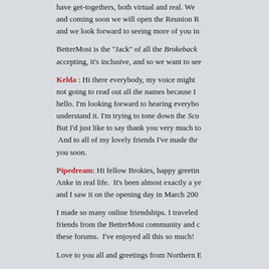have get-togethers, both virtual and real. We and coming soon we will open the Reunion R and we look forward to seeing more of you in
BetterMost is the "Jack" of all the Brokeback accepting, it's inclusive, and so we want to see
Kelda : Hi there everybody, my voice might not going to read out all the names because I hello. I'm looking forward to hearing everybod understand it. I'm trying to tone down the Sco But I'd just like to say thank you very much to And to all of my lovely friends I've made thr you soon.
Pipedream: Hi fellow Brokies, happy greetin Anke in real life. It's been almost exactly a ye and I saw it on the opening day in March 200
I made so many online friendships. I traveled friends from the BetterMost community and c these forums. I've enjoyed all this so much!
Love to you all and greetings from Northern E
Ffrn: Hello this is ffrn or Jocelyn. I'm a regu